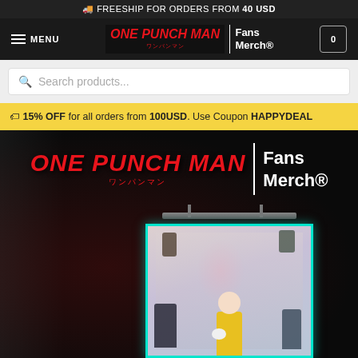🚚 FREESHIP FOR ORDERS FROM 40 USD
[Figure (logo): One Punch Man Fans Merch logo with navigation menu and cart icon on dark background]
Search products...
🏷 15% OFF for all orders from 100USD. Use Coupon HAPPYDEAL
[Figure (photo): One Punch Man Fans Merch hero banner with large logo text, vertical white divider, Fans Merch® text, and anime characters group poster with teal glowing border frame in foreground]